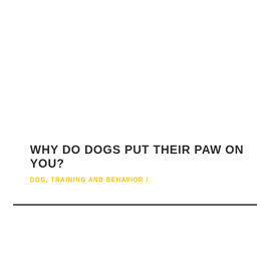WHY DO DOGS PUT THEIR PAW ON YOU?
DOG, TRAINING AND BEHAVIOR /